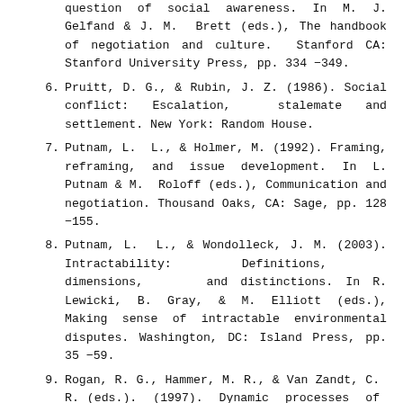question of social awareness. In M. J. Gelfand & J. M. Brett (eds.), The handbook of negotiation and culture. Stanford CA: Stanford University Press, pp. 334 −349.
6. Pruitt, D. G., & Rubin, J. Z. (1986). Social conflict: Escalation, stalemate and settlement. New York: Random House.
7. Putnam, L. L., & Holmer, M. (1992). Framing, reframing, and issue development. In L. Putnam & M. Roloff (eds.), Communication and negotiation. Thousand Oaks, CA: Sage, pp. 128 −155.
8. Putnam, L. L., & Wondolleck, J. M. (2003). Intractability: Definitions, dimensions, and distinctions. In R. Lewicki, B. Gray, & M. Elliott (eds.), Making sense of intractable environmental disputes. Washington, DC: Island Press, pp. 35 −59.
9. Rogan, R. G., Hammer, M. R., & Van Zandt, C. R. (eds.). (1997). Dynamic processes of crisis